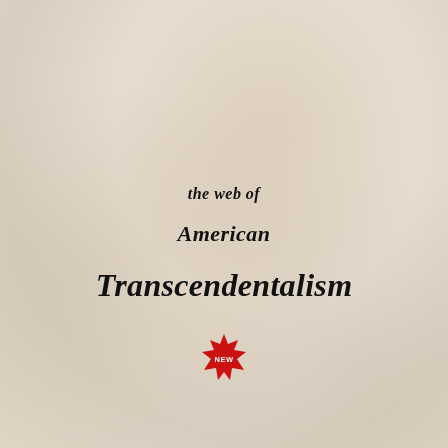the web of American Transcendentalism
[Figure (illustration): A red star-burst / badge shape with the word NEW inside it in white text, positioned near the bottom center of the page.]